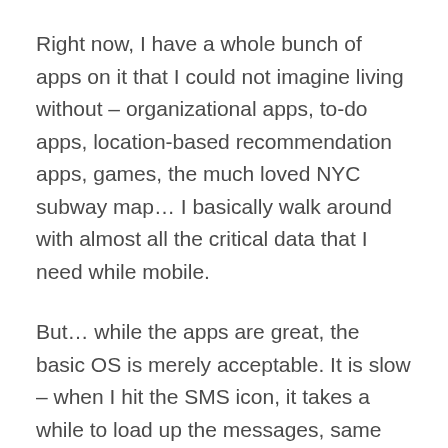Right now, I have a whole bunch of apps on it that I could not imagine living without – organizational apps, to-do apps, location-based recommendation apps, games, the much loved NYC subway map… I basically walk around with almost all the critical data that I need while mobile.
But… while the apps are great, the basic OS is merely acceptable. It is slow – when I hit the SMS icon, it takes a while to load up the messages, same with address book and other apps. It doesn't offer basic functionality – like the much talked about cut and paste, and most importantly, it is locked to AT&T and Apple continues to spend